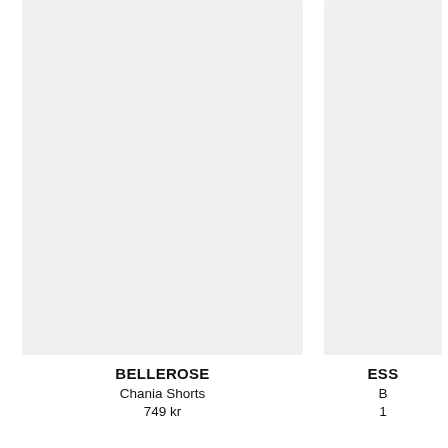[Figure (photo): Product image placeholder for Bellerose Chania Shorts, light gray background]
BELLEROSE
Chania Shorts
749 kr
[Figure (photo): Product image placeholder for ESSE brand item, light gray background, partially visible]
ESS
B
1